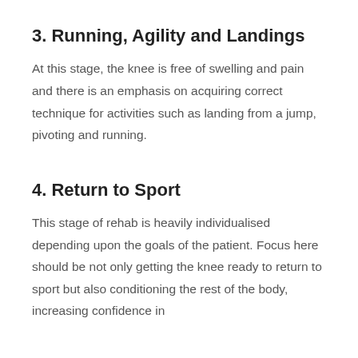3. Running, Agility and Landings
At this stage, the knee is free of swelling and pain and there is an emphasis on acquiring correct technique for activities such as landing from a jump, pivoting and running.
4. Return to Sport
This stage of rehab is heavily individualised depending upon the goals of the patient. Focus here should be not only getting the knee ready to return to sport but also conditioning the rest of the body, increasing confidence in